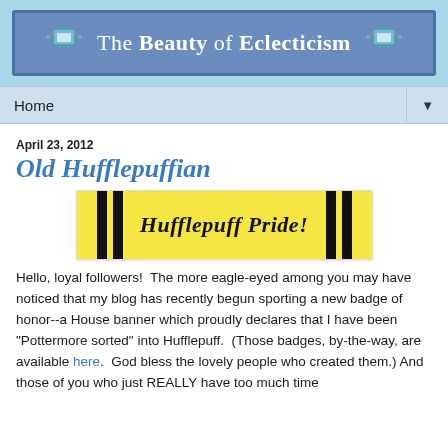The Beauty of Eclecticism
Home ▼
April 23, 2012
Old Hufflepuffian
[Figure (illustration): Hufflepuff Pride! banner with yellow background and black vertical stripes]
Hello, loyal followers!  The more eagle-eyed among you may have noticed that my blog has recently begun sporting a new badge of honor--a House banner which proudly declares that I have been "Pottermore sorted" into Hufflepuff.  (Those badges, by-the-way, are available here.  God bless the lovely people who created them.) And those of you who just REALLY have too much time